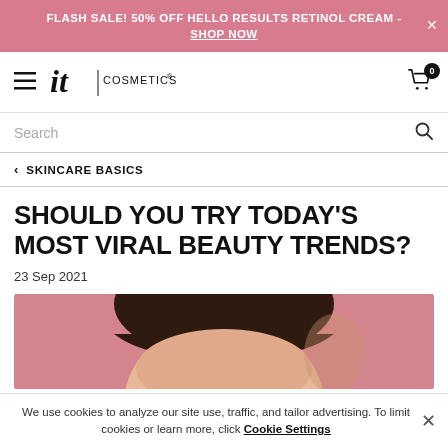FLASH SALE! 50% OFF HELLO RESULTS RETINOL CREAM - SHOP NOW
[Figure (logo): IT Cosmetics brand logo with hamburger menu icon and shopping cart with badge showing 0]
Search
SKINCARE BASICS
SHOULD YOU TRY TODAY'S MOST VIRAL BEAUTY TRENDS?
23 Sep 2021
[Figure (photo): Close-up photo of a woman's face against a pink background, showing top of head and forehead]
We use cookies to analyze our site use, traffic, and tailor advertising. To limit cookies or learn more, click Cookie Settings